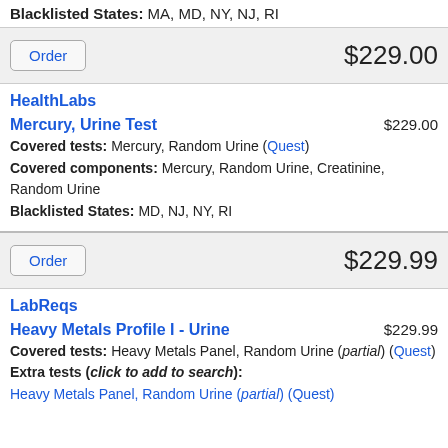Blacklisted States: MA, MD, NY, NJ, RI
Order   $229.00
HealthLabs
Mercury, Urine Test   $229.00
Covered tests: Mercury, Random Urine (Quest)
Covered components: Mercury, Random Urine, Creatinine, Random Urine
Blacklisted States: MD, NJ, NY, RI
Order   $229.99
LabReqs
Heavy Metals Profile I - Urine   $229.99
Covered tests: Heavy Metals Panel, Random Urine (partial) (Quest)
Extra tests (click to add to search):
Heavy Metals Panel, Random Urine (partial) (Quest)